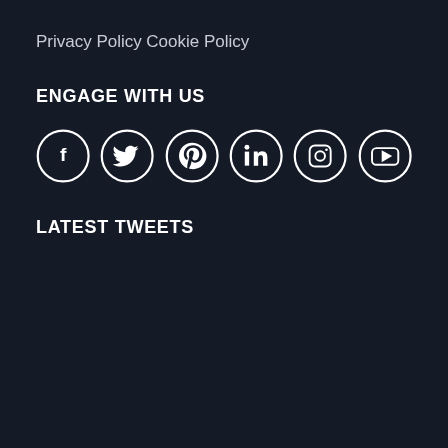Privacy Policy
Cookie Policy
ENGAGE WITH US
[Figure (illustration): Six social media icons in white circles on dark background: Facebook, Twitter, Pinterest, LinkedIn, Instagram, YouTube]
LATEST TWEETS